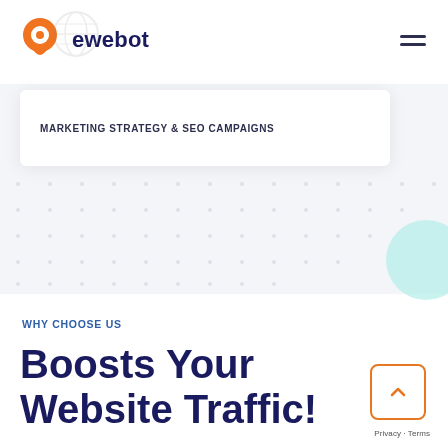[Figure (logo): Ewebot logo with orange speech-bubble pin icon and globe outline, and text 'ewebot' in dark navy]
MARKETING STRATEGY & SEO CAMPAIGNS
WHY CHOOSE US
Boosts Your Website Traffic!